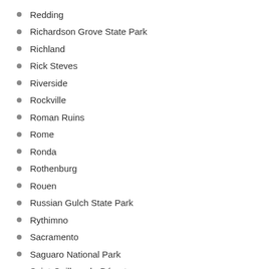Redding
Richardson Grove State Park
Richland
Rick Steves
Riverside
Rockville
Roman Ruins
Rome
Ronda
Rothenburg
Rouen
Russian Gulch State Park
Rythimno
Sacramento
Saguaro National Park
Saint-Guilhem-le-Désert